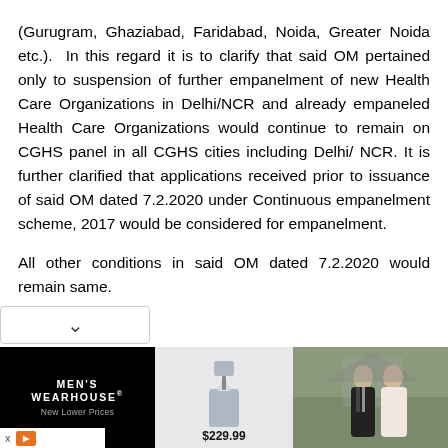(Gurugram, Ghaziabad, Faridabad, Noida, Greater Noida etc.). In this regard it is to clarify that said OM pertained only to suspension of further empanelment of new Health Care Organizations in Delhi/NCR and already empaneled Health Care Organizations would continue to remain on CGHS panel in all CGHS cities including Delhi/ NCR. It is further clarified that applications received prior to issuance of said OM dated 7.2.2020 under Continuous empanelment scheme, 2017 would be considered for empanelment.
All other conditions in said OM dated 7.2.2020 would remain same.
[Figure (other): Men's Wearhouse advertisement banner showing brand logo with tagline 'New Lower Prices', a suit mannequin photo with price $229.99, and a wedding couple photo.]